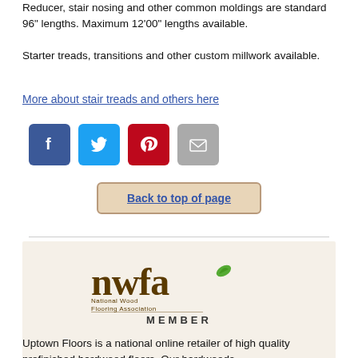Reducer, stair nosing and other common moldings are standard 96" lengths. Maximum 12'00" lengths available.
Starter treads, transitions and other custom millwork available.
More about stair treads and others here
[Figure (infographic): Social media share buttons: Facebook (blue), Twitter (cyan), Pinterest (red), Email (gray)]
Back to top of page
[Figure (logo): NWFA National Wood Flooring Association MEMBER logo]
Uptown Floors is a national online retailer of high quality prefinished hardwood floors. Our hardwoods